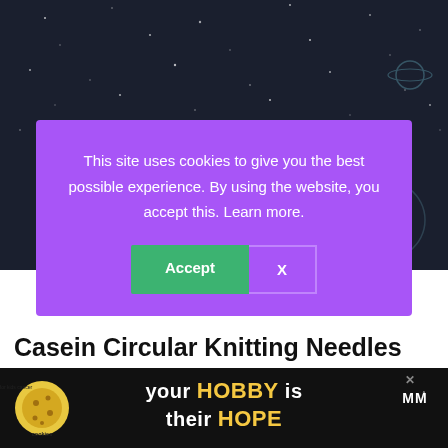[Figure (photo): Dark background image showing stars/space with a hint of a yarn ball illustration at bottom right]
This site uses cookies to give you the best possible experience. By using the website, you accept this. Learn more.
Accept | X
Casein Circular Knitting Needles
Unfortunately, the only needles made of Casein I could find available online were straight n... made as
[Figure (photo): Bottom ad banner: cookies for kids cancer - your HOBBY is their HOPE, with brand logo on right]